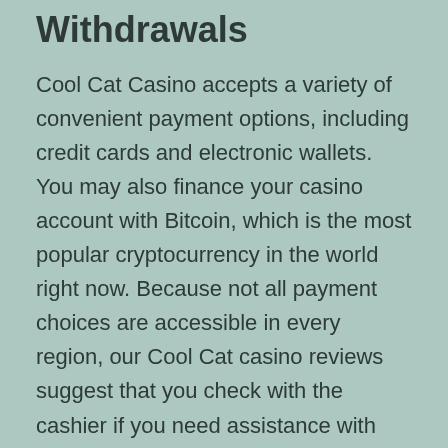Withdrawals
Cool Cat Casino accepts a variety of convenient payment options, including credit cards and electronic wallets. You may also finance your casino account with Bitcoin, which is the most popular cryptocurrency in the world right now. Because not all payment choices are accessible in every region, our Cool Cat casino reviews suggest that you check with the cashier if you need assistance with making a deposit of money.
When you initially join Cool Cat Casino, you'll be able to withdraw up to $2,000 every week